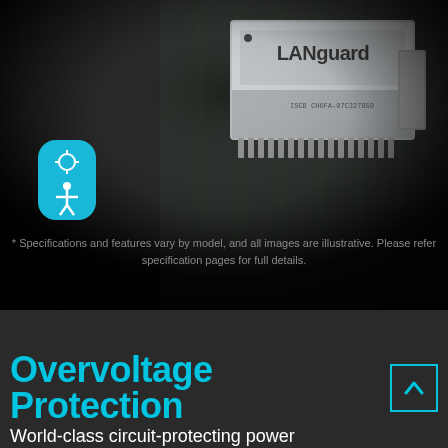[Figure (photo): Close-up photograph of a LANGuard chip/connector on a dark circuit board, showing metallic pins and the LANGuard branding label on top of the chip component.]
[Figure (illustration): Blue rounded rectangle accessibility icon showing a crosshair symbol above a person figure, indicating an accessibility or positioning feature.]
* Specifications and features vary by model, and all images are illustrative. Please refer specification pages for full details.
Overvoltage Protection
World-class circuit-protecting power